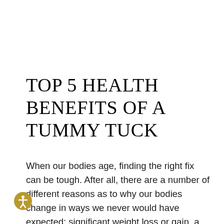TOP 5 HEALTH BENEFITS OF A TUMMY TUCK
When our bodies age, finding the right fix can be tough. After all, there are a number of different reasons as to why our bodies change in ways we never would have expected: significant weight loss or gain, a difficult